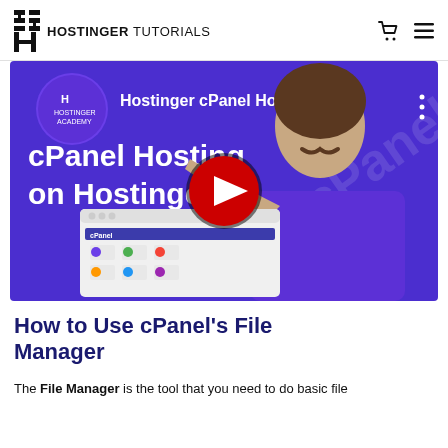HOSTINGER TUTORIALS
[Figure (screenshot): YouTube video thumbnail for 'Hostinger cPanel Hosting' showing a man with a mustache in a purple shirt pointing at a cPanel interface mockup, with a red YouTube play button in the center. Text on thumbnail reads 'cPanel Hosting on Hostinger'. Hostinger Academy logo in top left.]
How to Use cPanel's File Manager
The File Manager is the tool that you need to do basic file